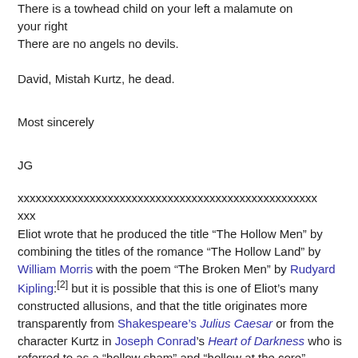There is a towhead child on your left a malamute on your right
There are no angels no devils.
David, Mistah Kurtz, he dead.
Most sincerely
JG
xxxxxxxxxxxxxxxxxxxxxxxxxxxxxxxxxxxxxxxxxxxxxxxxxx
xxx
Eliot wrote that he produced the title “The Hollow Men” by combining the titles of the romance “The Hollow Land” by William Morris with the poem “The Broken Men” by Rudyard Kipling:[2] but it is possible that this is one of Eliot’s many constructed allusions, and that the title originates more transparently from Shakespeare’s Julius Caesar or from the character Kurtz in Joseph Conrad’s Heart of Darkness who is referred to as a “hollow sham” and “hollow at the core”.